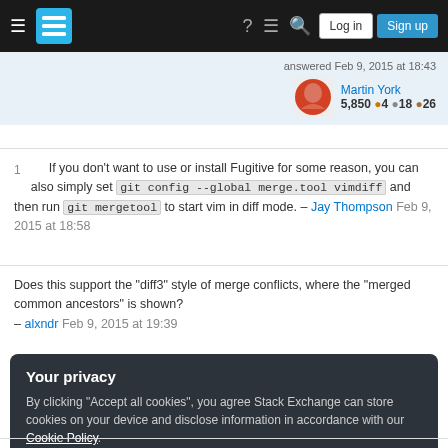Stack Exchange navigation bar with Log in and Sign up buttons
answered Feb 9, 2015 at 18:43 Martin York 5,850 ●4 ●18 ●26
1 If you don't want to use or install Fugitive for some reason, you can also simply set git config --global merge.tool vimdiff and then run git mergetool to start vim in diff mode. – Jay Thompson Feb 9, 2015 at 18:58
Does this support the "diff3" style of merge conflicts, where the "merged common ancestors" is shown? – alxndr Feb 9, 2015 at 19:39
Your privacy
By clicking "Accept all cookies", you agree Stack Exchange can store cookies on your device and disclose information in accordance with our Cookie Policy.
Accept all cookies  Customize settings
Now that I look closely, the first screenshot shows the